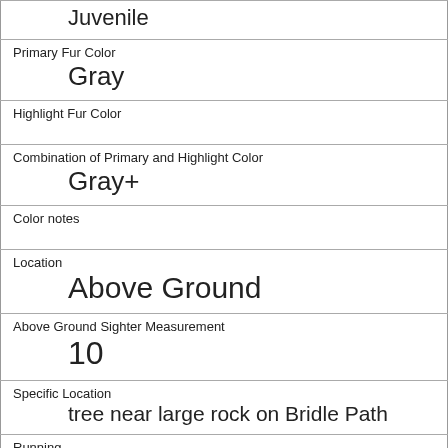| Juvenile |
| Primary Fur Color | Gray |
| Highlight Fur Color |  |
| Combination of Primary and Highlight Color | Gray+ |
| Color notes |  |
| Location | Above Ground |
| Above Ground Sighter Measurement | 10 |
| Specific Location | tree near large rock on Bridle Path |
| Running | 0 |
| Chasing | 0 |
| Climbing | 0 |